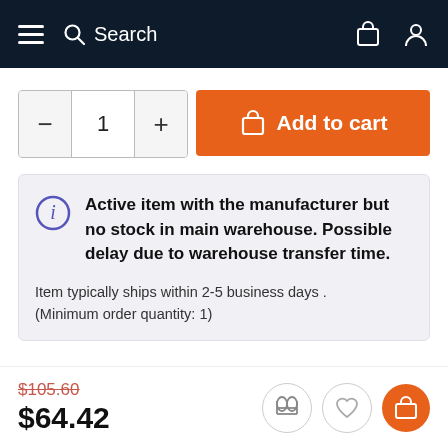Search
– 1 + Add to cart
Active item with the manufacturer but no stock in main warehouse. Possible delay due to warehouse transfer time.

Item typically ships within 2-5 business days . (Minimum order quantity: 1)
$105.60 $64.42